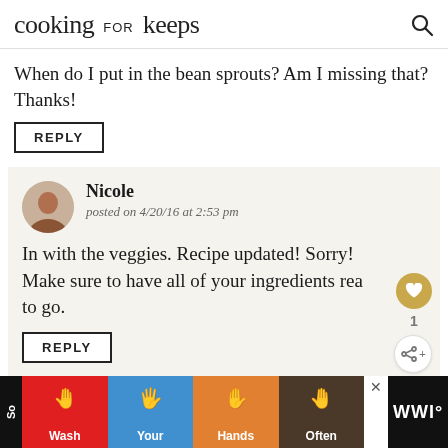cooking for keeps
When do I put in the bean sprouts? Am I missing that? Thanks!
REPLY
Nicole
posted on 4/20/16 at 2:53 pm
In with the veggies. Recipe updated! Sorry! Make sure to have all of your ingredients ready to go.
REPLY